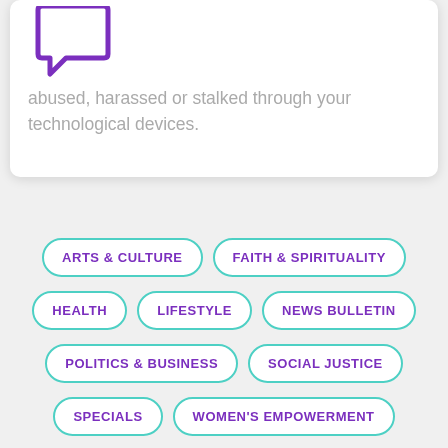[Figure (illustration): Purple speech bubble / chat icon, partially visible at top of card]
abused, harassed or stalked through your technological devices.
ARTS & CULTURE
FAITH & SPIRITUALITY
HEALTH
LIFESTYLE
NEWS BULLETIN
POLITICS & BUSINESS
SOCIAL JUSTICE
SPECIALS
WOMEN'S EMPOWERMENT